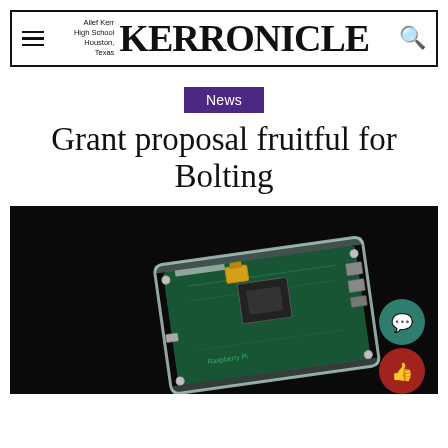Alief Kerr High School Houston, Texas — KERRONICLE
News
Grant proposal fruitful for Bolting
[Figure (photo): A Raspberry Pi single-board computer in a clear acrylic case, photographed against a black background. A yellow component is visible on top of the board. USB and other ports are visible on the right side.]